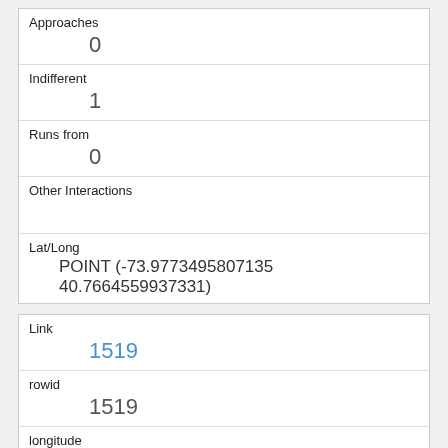| Approaches | 0 |
| Indifferent | 1 |
| Runs from | 0 |
| Other Interactions |  |
| Lat/Long | POINT (-73.9773495807135 40.7664559937331) |
| Link | 1519 |
| rowid | 1519 |
| longitude | -73.97173027730099 |
| latitude | 40.7748805439381 |
| Unique Squirrel ID | 11D-PM-1006-05 |